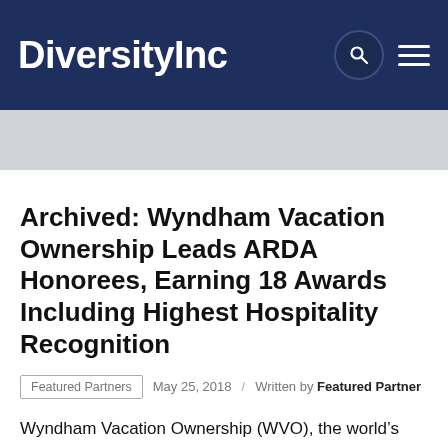DiversityInc
Archived: Wyndham Vacation Ownership Leads ARDA Honorees, Earning 18 Awards Including Highest Hospitality Recognition
Featured Partners   May 25, 2018 / Written by Featured Partner
Wyndham Vacation Ownership (WVO), the world’s largest vacation ownership company and a member of the Wyndham Worldwide family of companies, was the most honored brand at the annual American Resort Development Association (ARDA) conference in Las Vegas. The ARDA Awards Program is committed to celebrating the best and brightest in…